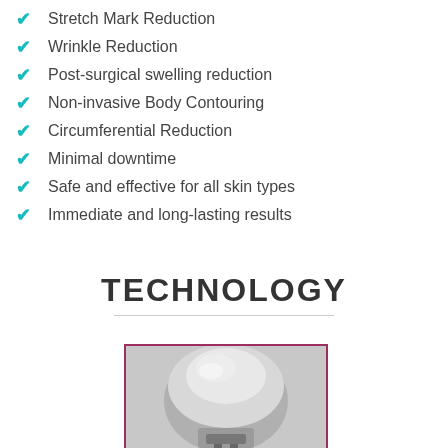Stretch Mark Reduction
Wrinkle Reduction
Post-surgical swelling reduction
Non-invasive Body Contouring
Circumferential Reduction
Minimal downtime
Safe and effective for all skin types
Immediate and long-lasting results
TECHNOLOGY
[Figure (photo): Medical/aesthetic device with dome-shaped head, shown in grayscale, framed with a dark pink/maroon border]